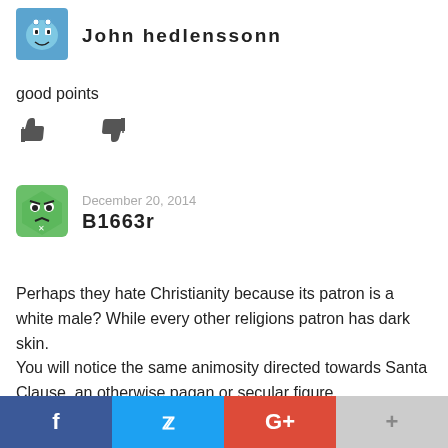[Figure (illustration): Blue cartoon avatar icon for user John hedlenssonn]
John hedlenssonn
good points
[Figure (illustration): Thumbs up and thumbs down icons]
[Figure (illustration): Green cartoon avatar icon for user B1663r]
December 20, 2014
B1663r
Perhaps they hate Christianity because its patron is a white male? While every other religions patron has dark skin.
You will notice the same animosity directed towards Santa Clause, an otherwise pagan or secular figure.
f  twitter  G+  +